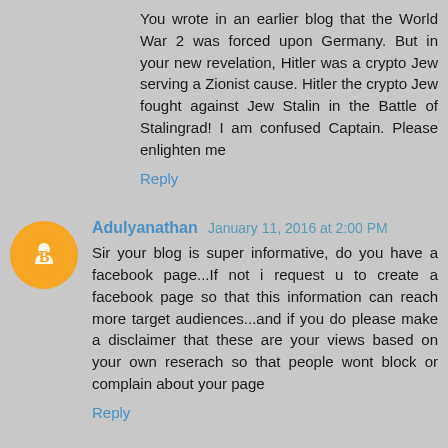You wrote in an earlier blog that the World War 2 was forced upon Germany. But in your new revelation, Hitler was a crypto Jew serving a Zionist cause. Hitler the crypto Jew fought against Jew Stalin in the Battle of Stalingrad! I am confused Captain. Please enlighten me
Reply
Adulyanathan January 11, 2016 at 2:00 PM
Sir your blog is super informative, do you have a facebook page...If not i request u to create a facebook page so that this information can reach more target audiences...and if you do please make a disclaimer that these are your views based on your own reserach so that people wont block or complain about your page
Reply
Aiswarya r January 11, 2016 at 3:07 PM
Captainji,